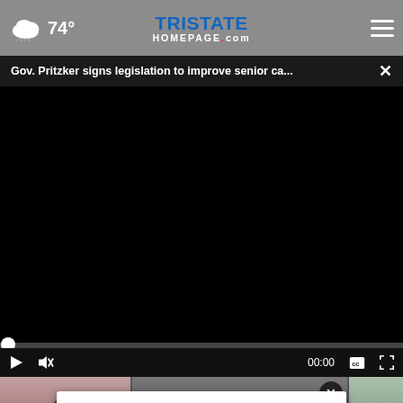74° | TristateHomepage.com
Gov. Pritzker signs legislation to improve senior ca...
[Figure (screenshot): Black video player area]
[Figure (screenshot): Video thumbnail strip showing three news clips at bottom]
[Figure (screenshot): Lexus Golden Opportunity Sales Event advertisement banner with Kenny Kent Lexus]